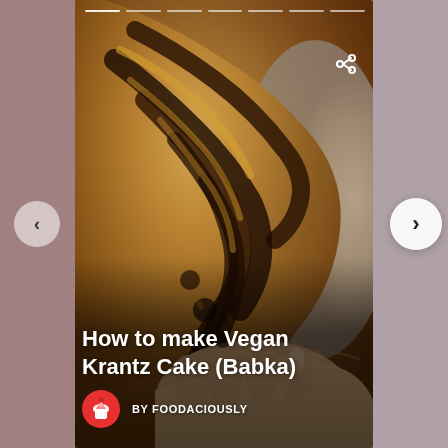[Figure (photo): Hands holding a twisted vegan krantz cake (babka) with dark chocolate swirls, close-up food photography]
How to make Vegan Krantz Cake (Babka)
BY FOODACIOUSLY